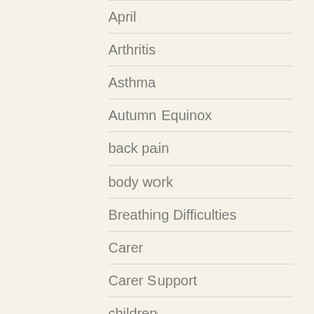April
Arthritis
Asthma
Autumn Equinox
back pain
body work
Breathing Difficulties
Carer
Carer Support
children